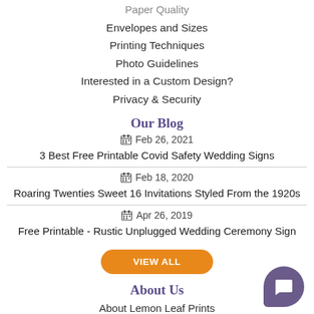Paper Quality
Envelopes and Sizes
Printing Techniques
Photo Guidelines
Interested in a Custom Design?
Privacy & Security
Our Blog
Feb 26, 2021
3 Best Free Printable Covid Safety Wedding Signs
Feb 18, 2020
Roaring Twenties Sweet 16 Invitations Styled From the 1920s
Apr 26, 2019
Free Printable - Rustic Unplugged Wedding Ceremony Sign
VIEW ALL
About Us
About Lemon Leaf Prints
Customer Reviews